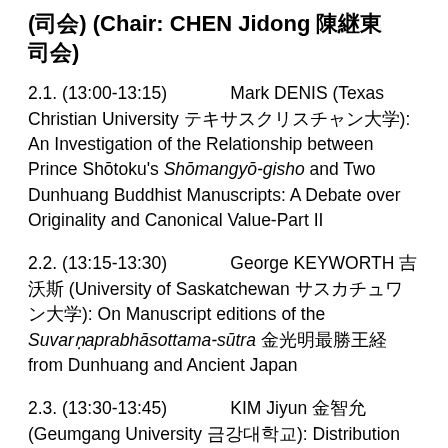(司会) (Chair: CHEN Jidong 陳継東　司会)
2.1. (13:00-13:15)　Mark DENIS (Texas Christian University テキサスクリスチャン大学): An Investigation of the Relationship between Prince Shōtoku's Shōmangyō-gisho and Two Dunhuang Buddhist Manuscripts: A Debate over Originality and Canonical Value-Part II
2.2. (13:15-13:30)　George KEYWORTH 吉沃斯 (University of Saskatchewan サスカチュワン大学): On Manuscript editions of the Suvarṇaprabhāsottama-sūtra 金光明最勝王経 from Dunhuang and Ancient Japan
2.3. (13:30-13:45)　KIM Jiyun 金智允 (Geumgang University 금강대학교): Distribution and